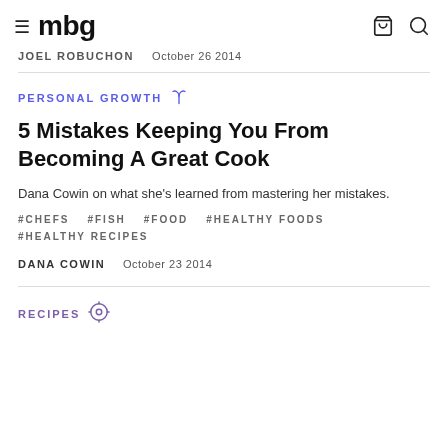mbg
JOEL ROBUCHON   October 26 2014
PERSONAL GROWTH
5 Mistakes Keeping You From Becoming A Great Cook
Dana Cowin on what she's learned from mastering her mistakes.
#CHEFS   #FISH   #FOOD   #HEALTHY FOODS   #HEALTHY RECIPES
DANA COWIN   October 23 2014
RECIPES